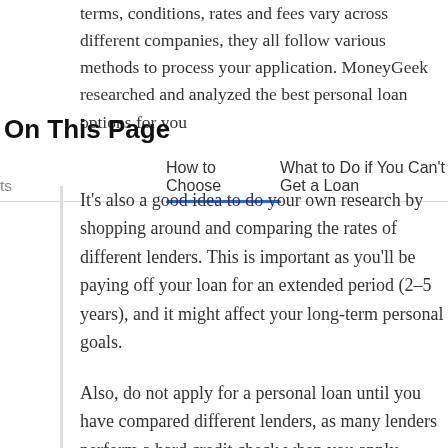terms, conditions, rates and fees vary across different companies, they all follow various methods to process your application. MoneyGeek researched and analyzed the best personal loan options for you
On This Page
ts   How to Choose   What to Do if You Can't Get a Loan
It's also a good idea to do your own research by shopping around and comparing the rates of different lenders. This is important as you'll be paying off your loan for an extended period (2–5 years), and it might affect your long-term personal goals.
Also, do not apply for a personal loan until you have compared different lenders, as many lenders perform a hard credit check when you apply, which can negatively affect your credit scores.